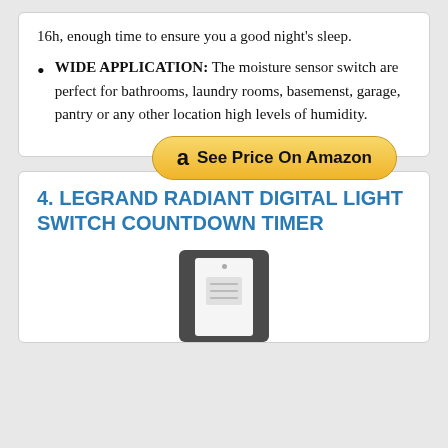16h, enough time to ensure you a good night's sleep.
WIDE APPLICATION: The moisture sensor switch are perfect for bathrooms, laundry rooms, basemenst, garage, pantry or any other location high levels of humidity.
[Figure (other): Amazon button: 'See Price On Amazon']
4. LEGRAND RADIANT DIGITAL LIGHT SWITCH COUNTDOWN TIMER
[Figure (photo): Photo of a Legrand Radiant digital light switch countdown timer device, shown as a white switch panel on a dark mounting plate.]